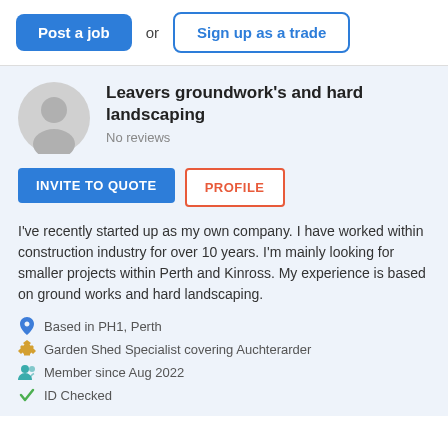Post a job
or
Sign up as a trade
Leavers groundwork's and hard landscaping
No reviews
INVITE TO QUOTE
PROFILE
I've recently started up as my own company. I have worked within construction industry for over 10 years. I'm mainly looking for smaller projects within Perth and Kinross. My experience is based on ground works and hard landscaping.
Based in PH1, Perth
Garden Shed Specialist covering Auchterarder
Member since Aug 2022
ID Checked